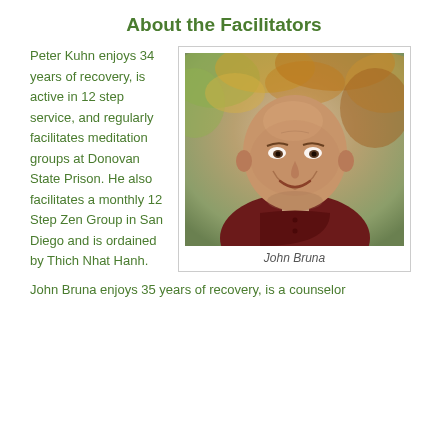About the Facilitators
Peter Kuhn enjoys 34 years of recovery, is active in 12 step service, and regularly facilitates meditation groups at Donovan State Prison. He also facilitates a monthly 12 Step Zen Group in San Diego and is ordained by Thich Nhat Hanh.
[Figure (photo): Portrait photo of John Bruna, a bald man in a dark red shirt, smiling, with autumn foliage background]
John Bruna
John Bruna enjoys 35 years of recovery, is a counselor